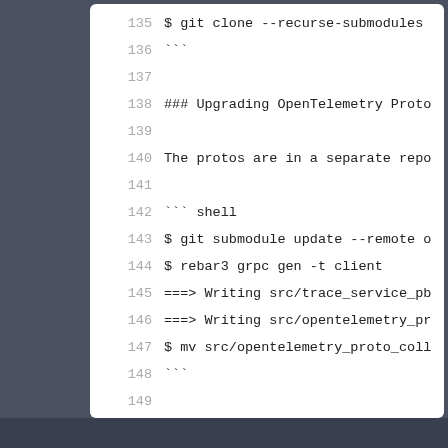135    $ git clone --recurse-submodules
136    ```
137
138    ### Upgrading OpenTelemetry Proto
139
140    The protos are in a separate repo
141
142    ``` shell
143    $ git submodule update --remote o
144    $ rebar3 grpc gen -t client
145    ===> Writing src/trace_service_pb
146    ===> Writing src/opentelemetry_pr
147    $ mv src/opentelemetry_proto_coll
148    ```
149
150    Then open `src/opentelemetry_trac
151